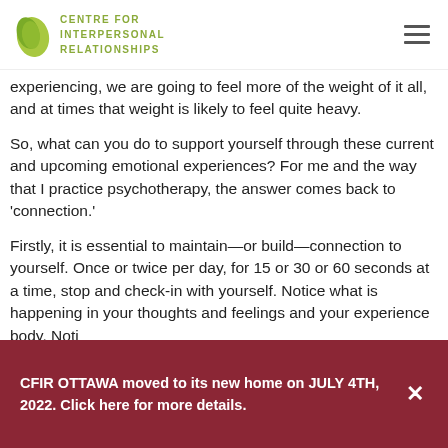[Figure (logo): Centre for Interpersonal Relationships logo: green leaf shape with olive/lime green text reading CENTRE FOR INTERPERSONAL RELATIONSHIPS]
experiencing, we are going to feel more of the weight of it all, and at times that weight is likely to feel quite heavy.
So, what can you do to support yourself through these current and upcoming emotional experiences? For me and the way that I practice psychotherapy, the answer comes back to 'connection.'
Firstly, it is essential to maintain—or build—connection to yourself. Once or twice per day, for 15 or 30 or 60 seconds at a time, stop and check-in with yourself. Notice what is happening in your thoughts and feelings and your experience body. Noti
CFIR OTTAWA moved to its new home on JULY 4TH, 2022. Click here for more details.